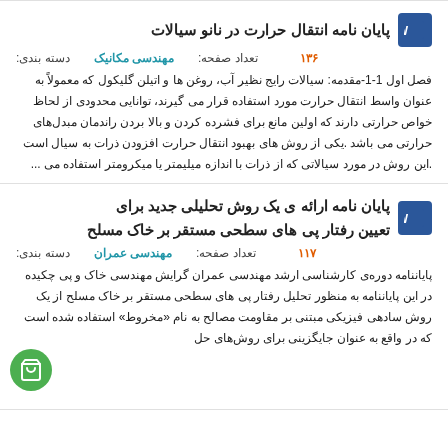پایان نامه انتقال حرارت در نانو سیالات
دسته بندی: مهندسی مکانیک  تعداد صفحه: ۱۳۶
فصل اول 1-1-مقدمه: سیالات رایج نظیر آب، روغن ها و اتیلن گلیکول که معمولاً به عنوان واسط انتقال حرارت مورد استفاده قرار می گیرند، توانایی محدودی از لحاظ خواص حرارتی دارند که اولین مانع برای فشرده کردن و بالا بردن راندمان مبدل‌های حرارتی می باشد .یکی از روش های بهبود انتقال حرارت افزودن ذرات به سیال است .این روش در مورد سیالاتی که از ذرات با اندازه میلیمتر یا میکرومتر استفاده می ...
پایان نامه ارائه ی یک روش تحلیلی جدید برای تعیین رفتار پی های سطحی مستقر بر خاک مسلح
دسته بندی: مهندسی عمران  تعداد صفحه: ۱۱۷
پایاننامه دوره‌ی کارشناسی ارشد مهندسی عمران گرایش مهندسی خاک و پی چکیده در این پایاننامه به منظور تحلیل رفتار پی های سطحی مستقر بر خاک مسلح از یک روش سادهی فیزیکی مبتنی بر مقاومت مصالح به نام «مخروط» استفاده شده است که در واقع به عنوان جایگزینی برای روش‌های حل